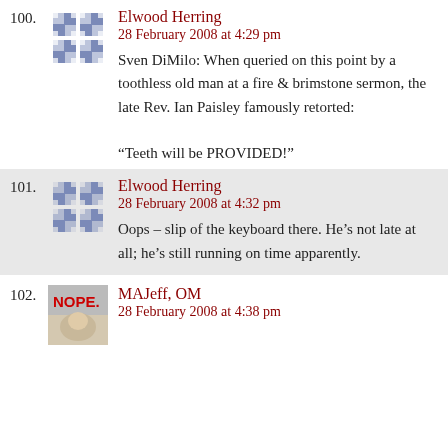100. Elwood Herring — 28 February 2008 at 4:29 pm — Sven DiMilo: When queried on this point by a toothless old man at a fire & brimstone sermon, the late Rev. Ian Paisley famously retorted: “Teeth will be PROVIDED!”
101. Elwood Herring — 28 February 2008 at 4:32 pm — Oops – slip of the keyboard there. He’s not late at all; he’s still running on time apparently.
102. MAJeff, OM — 28 February 2008 at 4:38 pm